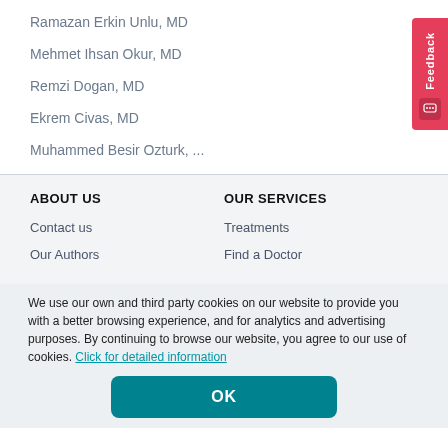Ramazan Erkin Unlu, MD
Mehmet Ihsan Okur, MD
Remzi Dogan, MD
Ekrem Civas, MD
Muhammed Besir Ozturk, ...
ABOUT US
OUR SERVICES
Contact us
Treatments
Our Authors
Find a Doctor
We use our own and third party cookies on our website to provide you with a better browsing experience, and for analytics and advertising purposes. By continuing to browse our website, you agree to our use of cookies. Click for detailed information
OK